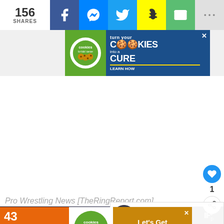156 SHARES — social share bar with Facebook, Messenger, Twitter, Snapchat, SMS, More buttons
[Figure (infographic): Cookies for Kids Cancer advertisement: turn your COOKIES into a CURE — LEARN HOW]
[Figure (infographic): Heart/like button showing count 1, and share button on right side]
Pro Wrestling News [TheRingReport.com]
[Figure (infographic): WHAT'S NEXT arrow panel: It Doesn't Sound Like...]
[Figure (photo): Pro wrestling event photo with athlete raising arms in arena with blue lighting]
[Figure (infographic): 43 CHILDREN A Day Are Diagnosed With Cancer in the U.S. — Cookies for Kids Cancer — Let's Get Baking advertisement]